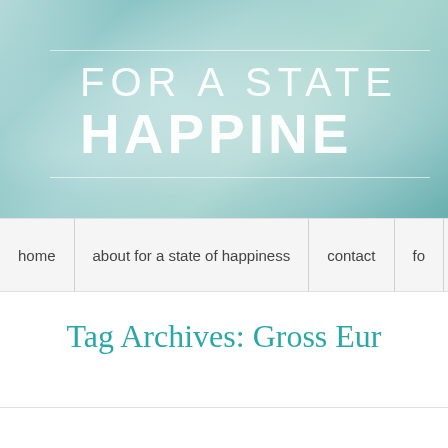[Figure (illustration): Website banner header with teal/mint watercolor textured background. White horizontal lines frame large white uppercase text reading 'FOR A STATE' on first line and 'HAPPINE' (cropped) on second line.]
home | about for a state of happiness | contact | fo...
Tag Archives: Gross Eur...